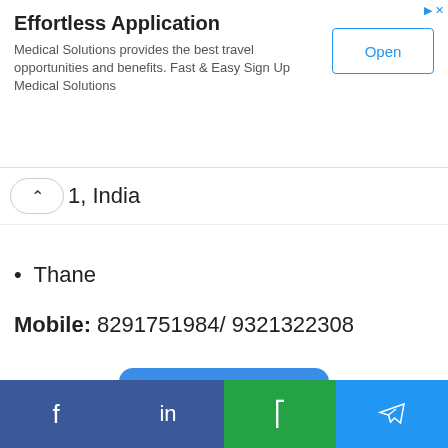[Figure (screenshot): Ad banner: Effortless Application - Medical Solutions provides the best travel opportunities and benefits. Fast & Easy Sign Up Medical Solutions. Open button.]
01, India
Thane
Mobile: 8291751984/ 9321322308
[Figure (other): Apply Now button (blue rounded rectangle)]
[Figure (other): Social media footer bar with Facebook, LinkedIn, WhatsApp, Telegram icons]